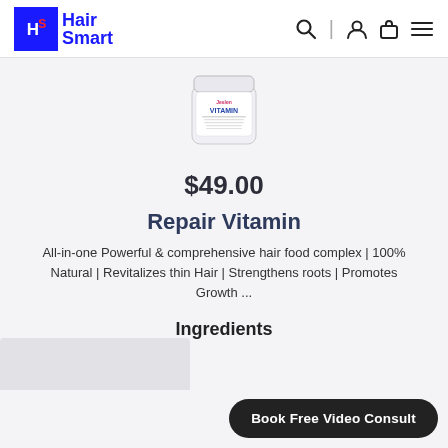HS Hair Smart
[Figure (photo): White cylindrical jar labeled 'VITAMIN' from Jeslen brand, shown partially from top]
$49.00
Repair Vitamin
All-in-one Powerful & comprehensive hair food complex | 100% Natural | Revitalizes thin Hair | Strengthens roots | Promotes Growth ...
Ingredients
Book Free Video Consult